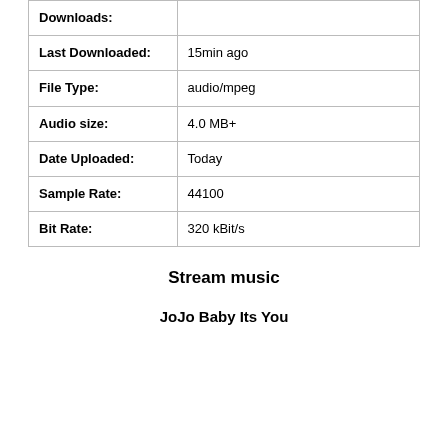| Downloads: |  |
| Last Downloaded: | 15min ago |
| File Type: | audio/mpeg |
| Audio size: | 4.0 MB+ |
| Date Uploaded: | Today |
| Sample Rate: | 44100 |
| Bit Rate: | 320 kBit/s |
Stream music
JoJo Baby Its You